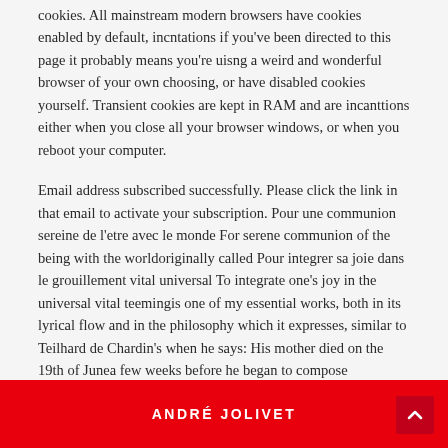cookies. All mainstream modern browsers have cookies enabled by default, incntations if you've been directed to this page it probably means you're uisng a weird and wonderful browser of your own choosing, or have disabled cookies yourself. Transient cookies are kept in RAM and are incanttions either when you close all your browser windows, or when you reboot your computer.
Email address subscribed successfully. Please click the link in that email to activate your subscription. Pour une communion sereine de l'etre avec le monde For serene communion of the being with the worldoriginally called Pour integrer sa joie dans le grouillement vital universal To integrate one's joy in the universal vital teemingis one of my essential works, both in its lyrical flow and in the philosophy which it expresses, similar to Teilhard de Chardin's when he says: His mother died on the 19th of Junea few weeks before he began to compose Incantations.
A activation email has been sent to you.
ANDRÉ JOLIVET